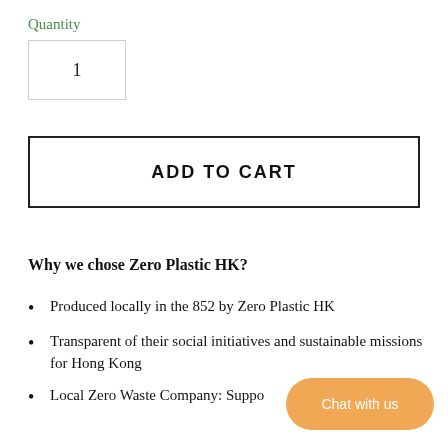Quantity
1
ADD TO CART
Why we chose Zero Plastic HK?
Produced locally in the 852 by Zero Plastic HK
Transparent of their social initiatives and sustainable missions for Hong Kong
Local Zero Waste Company: Suppo